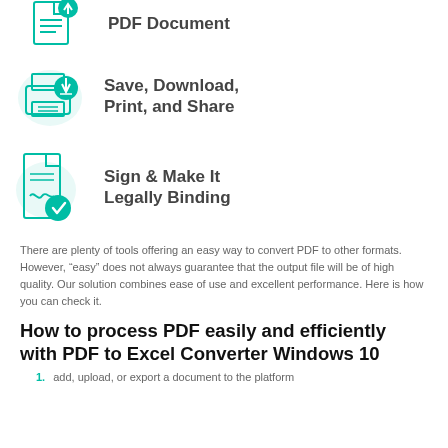[Figure (illustration): Teal icon of a PDF document with an upload arrow and green check badge, labeled 'PDF Document']
[Figure (illustration): Teal icon of a printer with a green download badge, with light blue circle background, labeled 'Save, Download, Print, and Share']
[Figure (illustration): Teal icon of a signed document with green check badge and light blue circle background, labeled 'Sign & Make It Legally Binding']
There are plenty of tools offering an easy way to convert PDF to other formats. However, “easy” does not always guarantee that the output file will be of high quality. Our solution combines ease of use and excellent performance. Here is how you can check it.
How to process PDF easily and efficiently with PDF to Excel Converter Windows 10
add, upload, or export a document to the platform